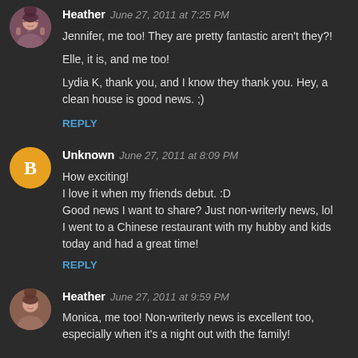[Figure (photo): Avatar photo of Heather – small circular profile picture of a woman]
Heather  June 27, 2011 at 7:25 PM
Jennifer, me too! They are pretty fantastic aren't they?!

Elle, it is, and me too!

Lydia K, thank you, and I know they thank you. Hey, a clean house is good news. ;)
REPLY
[Figure (logo): Blogger default avatar – orange circle with white B letter]
Unknown  June 27, 2011 at 8:09 PM
How exciting!
I love it when my friends debut. :D
Good news I want to share? Just non-writerly news, lol
I went to a Chinese restaurant with my hubby and kids today and had a great time!
REPLY
[Figure (photo): Avatar photo of Heather – small circular profile picture of a woman]
Heather  June 27, 2011 at 9:59 PM
Monica, me too! Non-writerly news is excellent too, especially when it's a night out with the family!